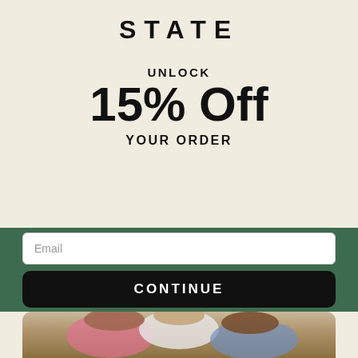[Figure (logo): STATE brand logo text in bold black capital letters with wide letter spacing]
UNLOCK
15% Off
YOUR ORDER
Email
CONTINUE
[Figure (photo): Three smiling children huddled close together, laughing and playing, photographed from above against a wooden background]